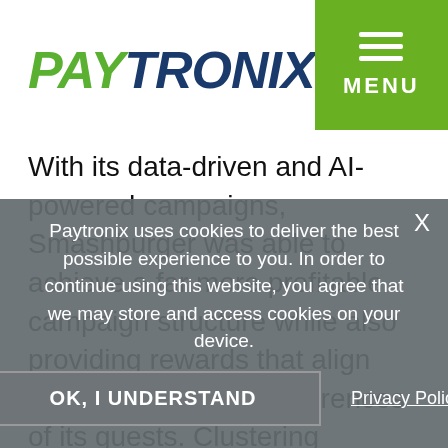PAYTRONIX — MENU
With its data-driven and AI-powered campaigns, Smashburger was able to achieve a far more profitable campaign structure while also providing rewards that align with the individual preferences of its guests. Clustering algorithms were used to send out highly segmented campaigns that
Paytronix uses cookies to deliver the best possible experience to you. In order to continue using this website, you agree that we may store and access cookies on your device.
OK, I UNDERSTAND
Privacy Policy